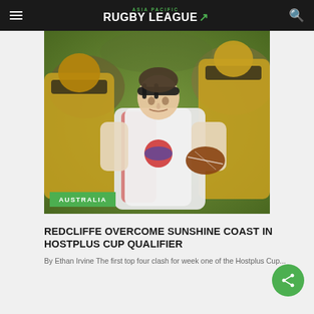ASIA PACIFIC RUGBY LEAGUE
[Figure (photo): Rugby league action photo showing a player in white/red jersey carrying the ball being tackled by a player in yellow/black jersey. Player in white has a headband. Green grass background.]
AUSTRALIA
REDCLIFFE OVERCOME SUNSHINE COAST IN HOSTPLUS CUP QUALIFIER
By Ethan Irvine The first top four clash for week one of the Hostplus Cup...